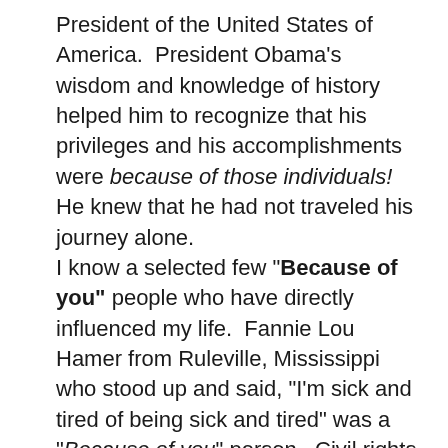President of the United States of America.  President Obama's wisdom and knowledge of history helped him to recognize that his privileges and his accomplishments were because of those individuals! He knew that he had not traveled his journey alone. I know a selected few "Because of you" people who have directly influenced my life.  Fannie Lou Hamer from Ruleville, Mississippi who stood up and said, "I'm sick and tired of being sick and tired" was a "Because of you" person.  Civil rights activist Jake Ayers from my hometown of Glen Allan, Mississippi who had crosses burned in his yard while we as children watched his gas tank explode and his house burned